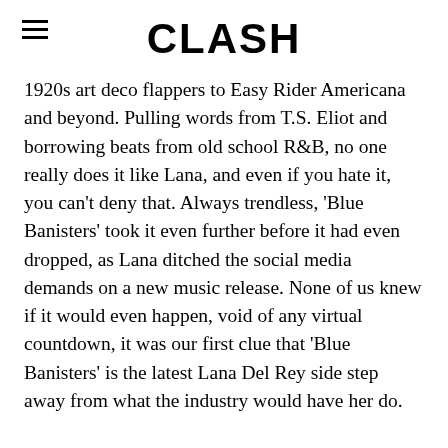CLASH
1920s art deco flappers to Easy Rider Americana and beyond. Pulling words from T.S. Eliot and borrowing beats from old school R&B, no one really does it like Lana, and even if you hate it, you can't deny that. Always trendless, 'Blue Banisters' took it even further before it had even dropped, as Lana ditched the social media demands on a new music release. None of us knew if it would even happen, void of any virtual countdown, it was our first clue that 'Blue Banisters' is the latest Lana Del Rey side step away from what the industry would have her do.
A clear display of change, 'Blue Banisters' is the first album in three years to not be a Jack Antonoff project. Breaking free from the super-producer at a time when his sound threatens to become a uniform for soft-spoken singers, she's back to doing whatever she wants. Merging everything that